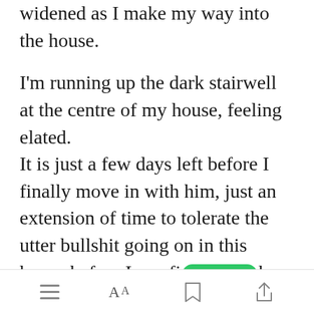widened as I make my way into the house.
I'm running up the dark stairwell at the centre of my house, feeling elated.
It is just a few days left before I finally move in with him, just an extension of time to tolerate the utter bullshit going on in this house before I can finally wake up to that beautiful dimply smile I'm so
[Figure (screenshot): Mobile app bottom toolbar with menu, font size, bookmark, and share icons; green 'Open in app' button overlay in the text area]